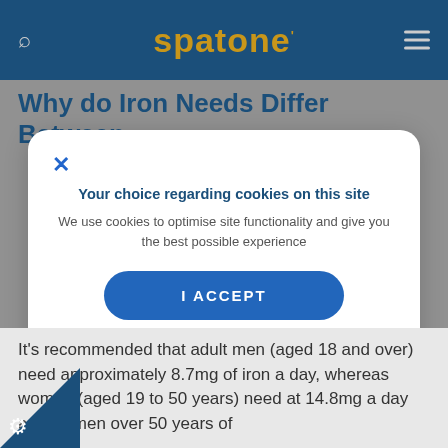spatone
Why do Iron Needs Differ Between
Your choice regarding cookies on this site
We use cookies to optimise site functionality and give you the best possible experience
I ACCEPT
SETTINGS
It's recommended that adult men (aged 18 and over) need approximately 8.7mg of iron a day, whereas women (aged 19 to 50 years) need at 14.8mg a day and women over 50 years of